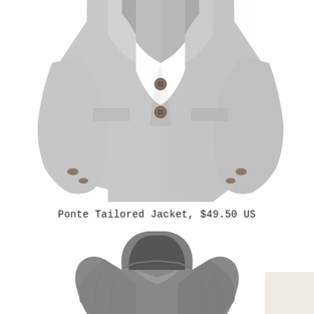[Figure (photo): Light gray ponte tailored blazer jacket with two buttons, two front flap pockets, and decorative sleeve buttons, photographed on white background]
Ponte Tailored Jacket, $49.50 US
[Figure (photo): Dark gray hooded coat/jacket with large hood pulled up, photographed on white background, partially cut off at bottom]
[Figure (other): Cream/beige color swatch in bottom right corner]